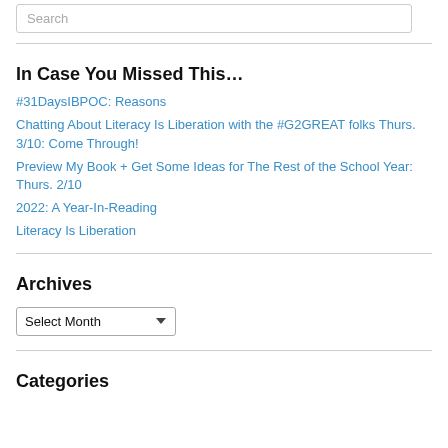Search
In Case You Missed This...
#31DaysIBPOC: Reasons
Chatting About Literacy Is Liberation with the #G2GREAT folks Thurs. 3/10: Come Through!
Preview My Book + Get Some Ideas for The Rest of the School Year: Thurs. 2/10
2022: A Year-In-Reading
Literacy Is Liberation
Archives
Select Month
Categories